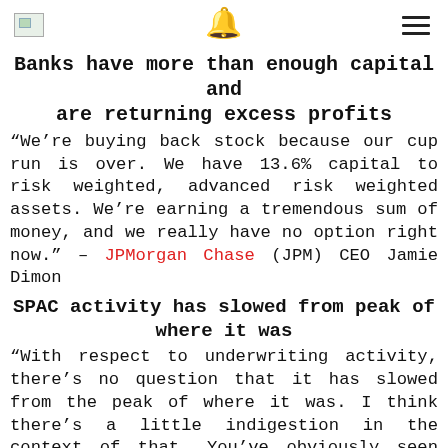[image icon] [bell] [menu]
Banks have more than enough capital and are returning excess profits
“We’re buying back stock because our cup run is over. We have 13.6% capital to risk weighted, advanced risk weighted assets. We’re earning a tremendous sum of money, and we really have no option right now.” – JPMorgan Chase (JPM) CEO Jamie Dimon
SPAC activity has slowed from peak of where it was
“With respect to underwriting activity, there’s no question that it has slowed from the peak of where it was. I think there’s a little indigestion in the context of that. You’ve obviously seen returns and some of the shells kind of slowed at this point. my guess is in this quarter, you’ll see less now